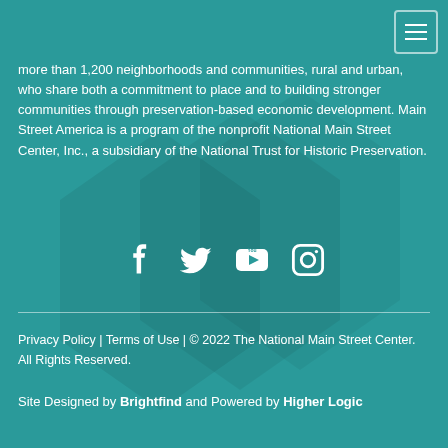more than 1,200 neighborhoods and communities, rural and urban, who share both a commitment to place and to building stronger communities through preservation-based economic development. Main Street America is a program of the nonprofit National Main Street Center, Inc., a subsidiary of the National Trust for Historic Preservation.
[Figure (other): Social media icons: Facebook, Twitter, YouTube, Instagram]
Privacy Policy | Terms of Use | © 2022 The National Main Street Center. All Rights Reserved.
Site Designed by Brightfind and Powered by Higher Logic